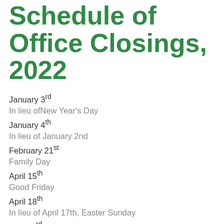Schedule of Office Closings, 2022
January 3rd
In lieu ofNew Year's Day
January 4th
In lieu of January 2nd
February 21st
Family Day
April 15th
Good Friday
April 18th
In lieu of April 17th, Easter Sunday
May 23rd
Victoria Day
July 1st